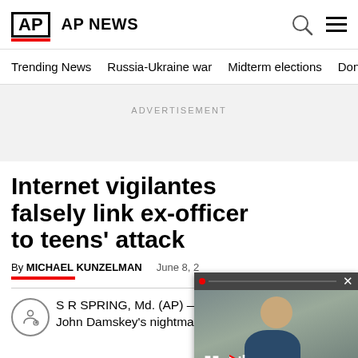AP AP NEWS
Trending News  Russia-Ukraine war  Midterm elections  Dona
ADVERTISEMENT
Internet vigilantes falsely link ex-officer to teens’ attack
By MICHAEL KUNZELMAN  June 8, 2
S R SPRING, Md. (AP) — John Damskey’s nightmare